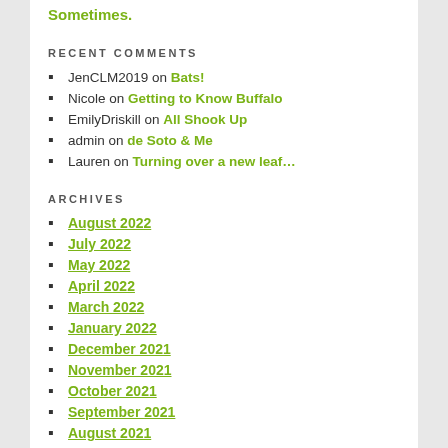Sometimes.
RECENT COMMENTS
JenCLM2019 on Bats!
Nicole on Getting to Know Buffalo
EmilyDriskill on All Shook Up
admin on de Soto & Me
Lauren on Turning over a new leaf…
ARCHIVES
August 2022
July 2022
May 2022
April 2022
March 2022
January 2022
December 2021
November 2021
October 2021
September 2021
August 2021